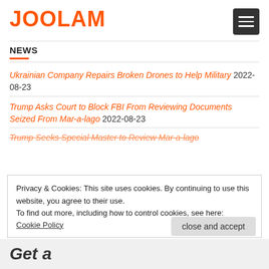JOOLAM
NEWS
Ukrainian Company Repairs Broken Drones to Help Military 2022-08-23
Trump Asks Court to Block FBI From Reviewing Documents Seized From Mar-a-lago 2022-08-23
Trump Seeks Special Master to Review Mar-a-lago...
Privacy & Cookies: This site uses cookies. By continuing to use this website, you agree to their use.
To find out more, including how to control cookies, see here:
Cookie Policy
close and accept
Get a